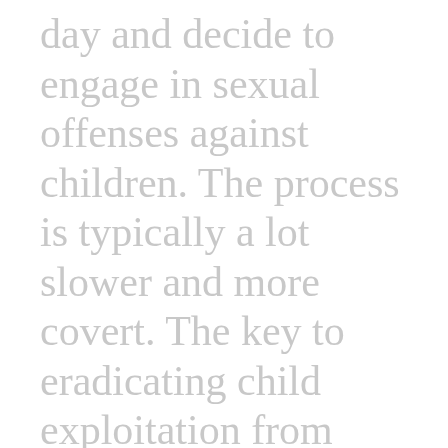day and decide to engage in sexual offenses against children. The process is typically a lot slower and more covert. The key to eradicating child exploitation from society is to take preventative measures. Basically destroying the seeds of sexual exploitation before they take root. If you require legal aid, Military Trial Defenders can help.